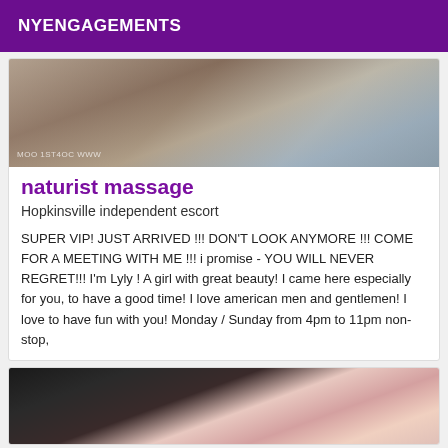NYENGAGEMENTS
[Figure (photo): Partial view of a person, blurred/cropped image with a watermark at bottom left]
naturist massage
Hopkinsville independent escort
SUPER VIP! JUST ARRIVED !!! DON'T LOOK ANYMORE !!! COME FOR A MEETING WITH ME !!! i promise - YOU WILL NEVER REGRET!!! I'm Lyly ! A girl with great beauty! I came here especially for you, to have a good time! I love american men and gentlemen! I love to have fun with you! Monday / Sunday from 4pm to 11pm non-stop,
[Figure (photo): Partial view of a person in dark clothing, cropped image]